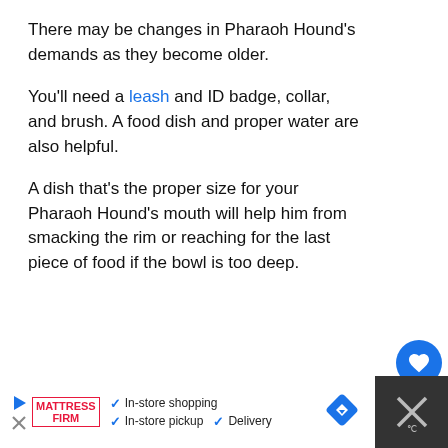There may be changes in Pharaoh Hound's demands as they become older.
You'll need a leash and ID badge, collar, and brush. A food dish and proper water are also helpful.
A dish that's the proper size for your Pharaoh Hound's mouth will help him from smacking the rim or reaching for the last piece of food if the bowl is too deep.
[Figure (infographic): Blue circular heart/like button, like count '1', and share button on right side of page]
[Figure (infographic): What's Next panel with dog image thumbnail, label 'WHAT'S NEXT →', and text '5 Best Dog Harnesses f...']
[Figure (infographic): Advertisement bar at bottom: Mattress Firm ad with In-store shopping, In-store pickup, Delivery checkmarks, navigation icon, and dark panel on right]